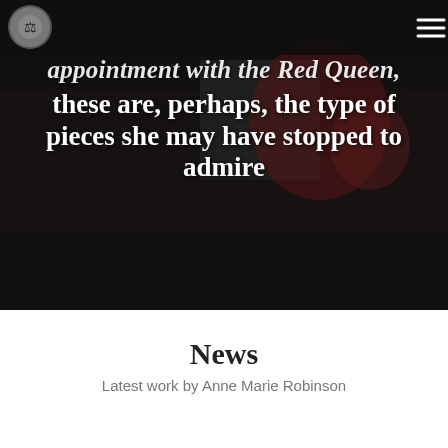[Figure (illustration): Website header with circular logo on the left and hamburger menu icon on the right, overlaid on a dark background with chess/playing card themed imagery]
appointment with the Red Queen, these are, perhaps, the type of pieces she may have stopped to admire
News
Latest work by Anne Marie Robinson